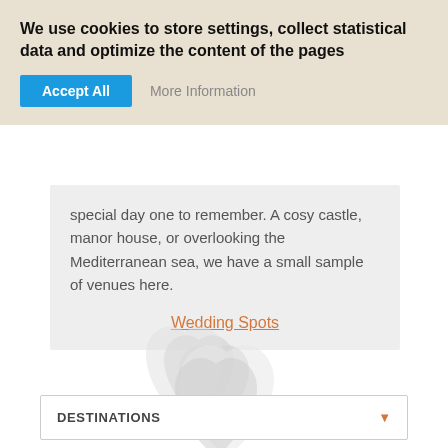We use cookies to store settings, collect statistical data and optimize the content of the pages
Accept All  More Information
special day one to remember. A cosy castle, manor house, or overlooking the Mediterranean sea, we have a small sample of venues here.
Wedding Spots
[Figure (illustration): Two overlapping heart shapes in light grey, forming a love/wedding symbol]
DESTINATIONS